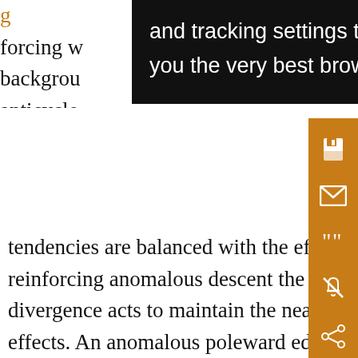forcing w background anticyclo anticyclo tendencies are balanced with the effect of anomalous horizontal convergence, reinforcing anomalous descent the midtroposphere. The associated anomalous low-lev divergence acts to maintain the near-surface anticyclon anomaly against frictional effects. An anomalous poleward eddy heat flux along the northward-shifted storm track acts to render the monthly anticyclonic anomaly more barotropic by acting to relax the temperature gradient, thereby reinforcing the near-surface anticyclonic anomaly (not shown). Overall, the aforementioned transient eddy feedback is of particular importance in maintaining the warm, equivalent
and tracking settings to store information that help give you the very best browsing experience.